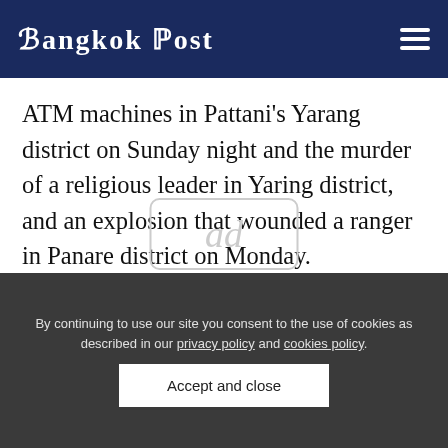Bangkok Post
ATM machines in Pattani's Yarang district on Sunday night and the murder of a religious leader in Yaring district, and an explosion that wounded a ranger in Panare district on Monday.
[Figure (other): Advertisement placeholder box with 'ad' text]
By continuing to use our site you consent to the use of cookies as described in our privacy policy and cookies policy.
Accept and close